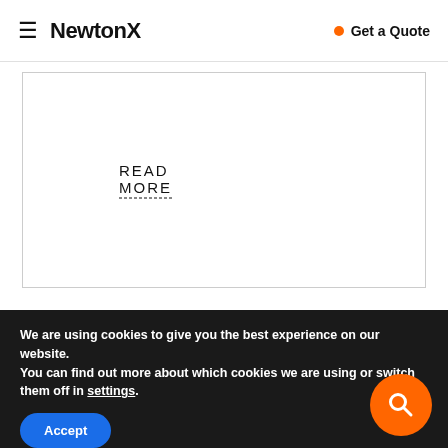NewtonX — Get a Quote
READ MORE
[Figure (screenshot): Blue section background, partial white heading text visible]
We are using cookies to give you the best experience on our website.
You can find out more about which cookies we are using or switch them off in settings.
Accept